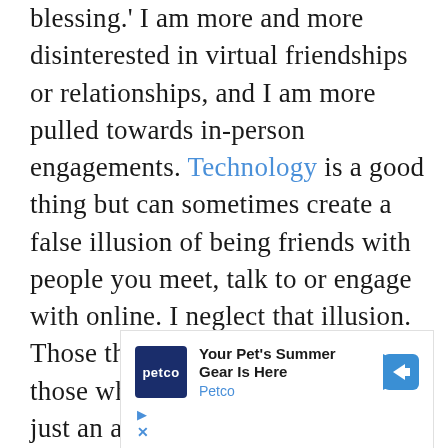blessing.' I am more and more disinterested in virtual friendships or relationships, and I am more pulled towards in-person engagements. Technology is a good thing but can sometimes create a false illusion of being friends with people you meet, talk to or engage with online. I neglect that illusion. Those that matter to me are only those who are here. Everyone else is just an avatar in a world of technology that I do not live in. The same goes for love. I do not want any long-
[Figure (other): Petco advertisement banner: 'Your Pet's Summer Gear Is Here' with Petco logo and blue arrow icon, plus play and close controls.]